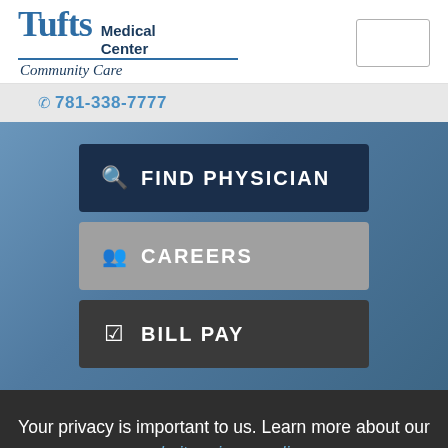[Figure (logo): Tufts Medical Center Community Care logo with blue text]
781-338-7777
FIND PHYSICIAN
CAREERS
BILL PAY
Your privacy is important to us. Learn more about our website privacy policy.
X